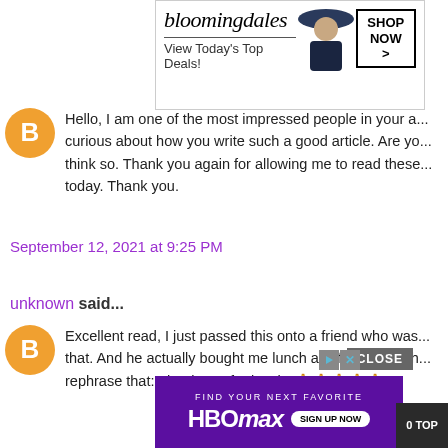[Figure (screenshot): Bloomingdale's advertisement banner: View Today's Top Deals! with SHOP NOW button and woman in hat image]
Hello, I am one of the most impressed people in your a... curious about how you write such a good article. Are yo... think so. Thank you again for allowing me to read these... today. Thank you.
September 12, 2021 at 9:25 PM
unknown said...
Excellent read, I just passed this onto a friend who was... that. And he actually bought me lunch as I found it for h... rephrase that: Thank you for lunch. 🙏🙏🙏🙏🙏
[Figure (screenshot): HBO Max advertisement banner: Find Your Next Favorite, Sign Up Now]
CLOSE
0 TOP